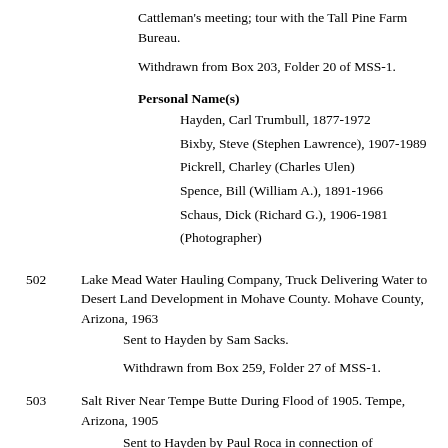Cattleman's meeting; tour with the Tall Pine Farm Bureau.
Withdrawn from Box 203, Folder 20 of MSS-1.
Personal Name(s)
Hayden, Carl Trumbull, 1877-1972
Bixby, Steve (Stephen Lawrence), 1907-1989
Pickrell, Charley (Charles Ulen)
Spence, Bill (William A.), 1891-1966
Schaus, Dick (Richard G.), 1906-1981
(Photographer)
502   Lake Mead Water Hauling Company, Truck Delivering Water to Desert Land Development in Mohave County. Mohave County, Arizona, 1963
    Sent to Hayden by Sam Sacks.

    Withdrawn from Box 259, Folder 27 of MSS-1.
503   Salt River Near Tempe Butte During Flood of 1905. Tempe, Arizona, 1905
    Sent to Hayden by Paul Roca in connection of